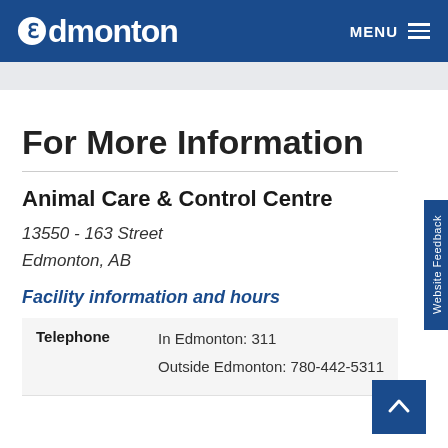Edmonton  MENU
For More Information
Animal Care & Control Centre
13550 - 163 Street
Edmonton, AB
Facility information and hours
|  |  |
| --- | --- |
| Telephone | In Edmonton: 311
Outside Edmonton: 780-442-5311 |